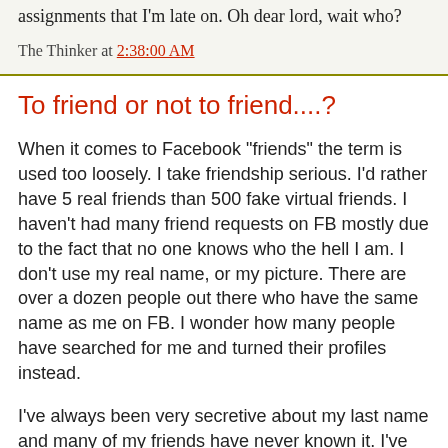assignments that I'm late on. Oh dear lord, wait who?
The Thinker at 2:38:00 AM
To friend or not to friend....?
When it comes to Facebook "friends" the term is used too loosely. I take friendship serious. I'd rather have 5 real friends than 500 fake virtual friends. I haven't had many friend requests on FB mostly due to the fact that no one knows who the hell I am. I don't use my real name, or my picture. There are over a dozen people out there who have the same name as me on FB. I wonder how many people have searched for me and turned their profiles instead.
I've always been very secretive about my last name and many of my friends have never known it. I've seen on FB all my old friends from high school who I really don't talk to anymore. Most people on FB reunite with all their old high school friends, I haven't. There's a reason who we lost touch perhaps, and that's because we didn't have much in